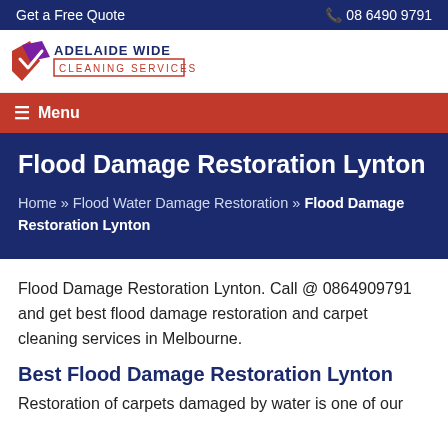Get a Free Quote   08 6490 9791
[Figure (logo): Adelaide Wide Cleaning Services logo with red/purple checkmark icon and text]
≡ Menu
Flood Damage Restoration Lynton
Home » Flood Water Damage Restoration » Flood Damage Restoration Lynton
Flood Damage Restoration Lynton. Call @ 0864909791 and get best flood damage restoration and carpet cleaning services in Melbourne.
Best Flood Damage Restoration Lynton
Restoration of carpets damaged by water is one of our